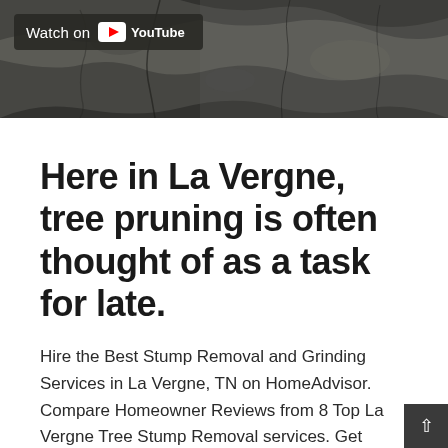[Figure (screenshot): YouTube video thumbnail showing tree bark texture with 'Watch on YouTube' badge overlay in dark background]
Here in La Vergne, tree pruning is often thought of as a task for late.
Hire the Best Stump Removal and Grinding Services in La Vergne, TN on HomeAdvisor. Compare Homeowner Reviews from 8 Top La Vergne Tree Stump Removal services. Get Quotes & Book Instantly. Stump Grinding in La Vergne on bushpruning.buzz See reviews, photos, directions, phone numbers and more for the best Stump Removal & Grinding in La Vergne, TN.
Average Cost per stump for Medium Tree Stump Grinding in